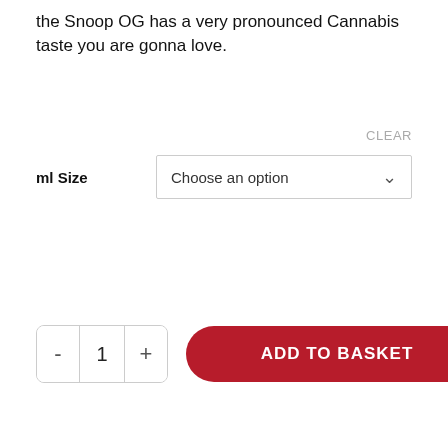the Snoop OG has a very pronounced Cannabis taste you are gonna love.
CLEAR
ml Size
Choose an option
- 1 + ADD TO BASKET
DESCRIPTION
ADDITIONAL INFORMATION
Call Now